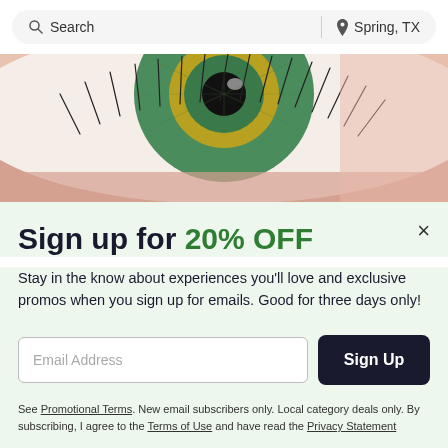Search | Spring, TX
[Figure (photo): Close-up macro photo of a human eye with colorful iris (green, blue, yellow tones) and detailed eyelashes]
Sign up for 20% OFF
Stay in the know about experiences you'll love and exclusive promos when you sign up for emails. Good for three days only!
Email Address
Sign Up
See Promotional Terms. New email subscribers only. Local category deals only. By subscribing, I agree to the Terms of Use and have read the Privacy Statement